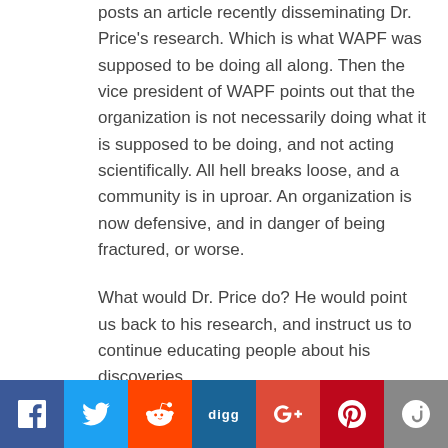posts an article recently disseminating Dr. Price's research. Which is what WAPF was supposed to be doing all along. Then the vice president of WAPF points out that the organization is not necessarily doing what it is supposed to be doing, and not acting scientifically. All hell breaks loose, and a community is in uproar. An organization is now defensive, and in danger of being fractured, or worse.
What would Dr. Price do? He would point us back to his research, and instruct us to continue educating people about his discoveries.
He may call for his name to be removed from anything that does not relate to his research.
[Figure (other): Social sharing bar with icons for Facebook, Twitter, Reddit, Digg, Google+, Pinterest, and StumbleUpon]